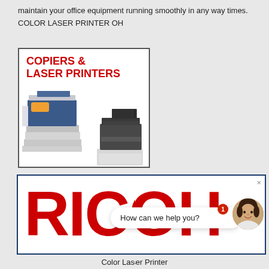maintain your office equipment running smoothly in any way times. COLOR LASER PRINTER OH
[Figure (illustration): Advertisement image showing copiers and laser printers with text 'COPIERS & LASER PRINTERS' in red, featuring two office machines — a large blue/white multifunction copier and a smaller black/white laser printer.]
[Figure (logo): RICOH logo in large red bold letters on white background inside a dark blue bordered rectangle, with a chat bubble overlay saying 'How can we help you?' and a female avatar portrait, plus a notification badge showing '1'.]
Color Laser Printer